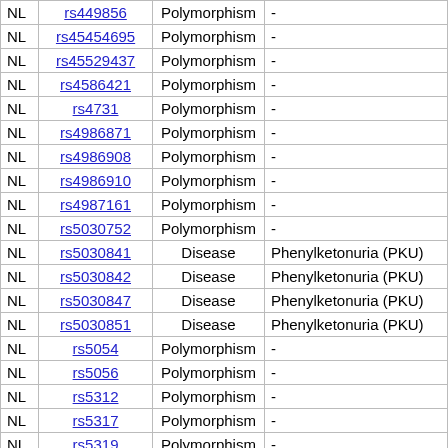|  | SNP | Type | Disease/Trait |
| --- | --- | --- | --- |
| NL | rs449856 | Polymorphism | - |
| NL | rs45454695 | Polymorphism | - |
| NL | rs45529437 | Polymorphism | - |
| NL | rs4586421 | Polymorphism | - |
| NL | rs4731 | Polymorphism | - |
| NL | rs4986871 | Polymorphism | - |
| NL | rs4986908 | Polymorphism | - |
| NL | rs4986910 | Polymorphism | - |
| NL | rs4987161 | Polymorphism | - |
| NL | rs5030752 | Polymorphism | - |
| NL | rs5030841 | Disease | Phenylketonuria (PKU) |
| NL | rs5030842 | Disease | Phenylketonuria (PKU) |
| NL | rs5030847 | Disease | Phenylketonuria (PKU) |
| NL | rs5030851 | Disease | Phenylketonuria (PKU) |
| NL | rs5054 | Polymorphism | - |
| NL | rs5056 | Polymorphism | - |
| NL | rs5312 | Polymorphism | - |
| NL | rs5317 | Polymorphism | - |
| NL | rs5319 | Polymorphism | - |
| NL | rs4986908... | Disease | Chromosomal condition... |